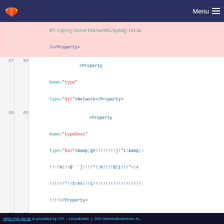GitLab navigation bar with logo and Menu
| old_ln | new_ln | code |
| --- | --- | --- |
|  |  | Rf:tVproj/aVcert64/onVHC/myDAQ:tVtib
/</Property> |
| 87 | 84 | <Property
Name="type"
Type="Str">Network</Property> |
| 88 | 85 | <Property
Name="typeDesc"
Type="Bin">&amp;Q#!!!!!!!!)!"1!&amp;!
!!-!%!!!@```]!!!!"!!%!!!!B(1!!!"=!A
!!!!!!!!5!#A!!!1!!!!!!!!!!!!!!!!!!!
!!!!!</Property> |
| 89 | 86 | </Item> |
| ... | ... | @@ -98,7 +95,6 @@ |
| 98 | 95 | <Property
Name="Network:UseBinding"
Type="Str">False</Property> |
| 99 | 96 | <Property
Name="Network:UseBuffering"
Type="Str">False</Property> |
| 100 | 97 | <Property |
https://git.gsi.de is provided by CIT – Linux&Web | GSI Helmholtzzentrum fu...